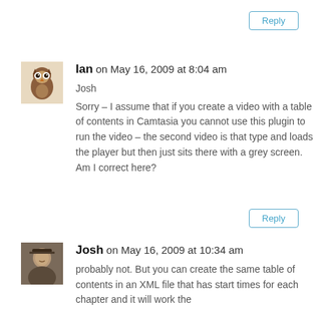Reply
[Figure (photo): Avatar image of Ian - an owl illustration on light background]
Ian on May 16, 2009 at 8:04 am
Josh
Sorry – I assume that if you create a video with a table of contents in Camtasia you cannot use this plugin to run the video – the second video is that type and loads the player but then just sits there with a grey screen. Am I correct here?
Reply
[Figure (photo): Avatar image of Josh - a person photo]
Josh on May 16, 2009 at 10:34 am
probably not. But you can create the same table of contents in an XML file that has start times for each chapter and it will work the